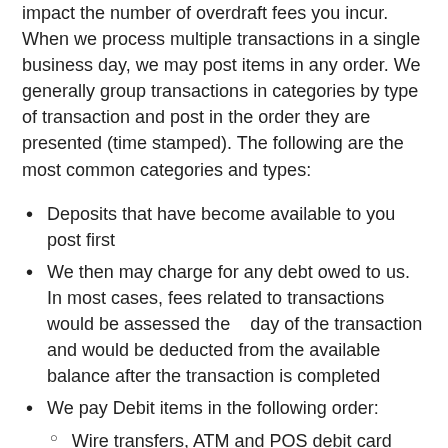impact the number of overdraft fees you incur. When we process multiple transactions in a single business day, we may post items in any order. We generally group transactions in categories by type of transaction and post in the order they are presented (time stamped). The following are the most common categories and types:
Deposits that have become available to you post first
We then may charge for any debt owed to us. In most cases, fees related to transactions would be assessed the    day of the transaction and would be deducted from the available balance after the transaction is completed
We pay Debit items in the following order:
Wire transfers, ATM and POS debit card